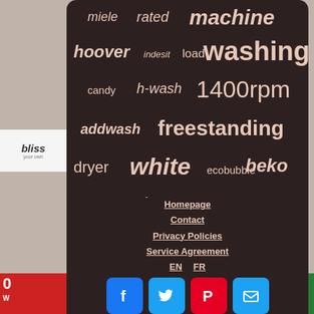[Figure (infographic): Word cloud on dark brown background with washing machine related keywords in varying sizes: miele, rated, machine, hoover, indesit, load, washing, candy, h-wash, 1400rpm, addwash, freestanding, dryer, white, ecobubble, beko, 10kg, standing]
[Figure (infographic): Footer navigation panel on dark brown background with links: Homepage, Contact, Privacy Policies, Service Agreement, EN, FR language selector, and social media buttons for Facebook, Twitter, Pinterest, and Email]